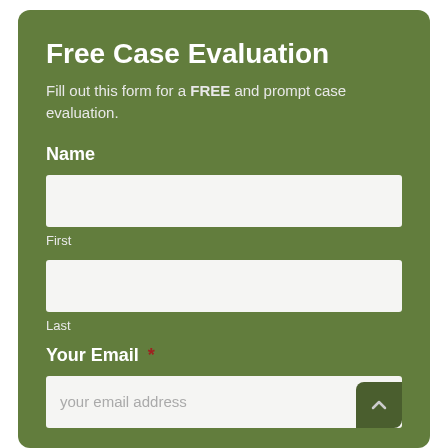Free Case Evaluation
Fill out this form for a FREE and prompt case evaluation.
Name
First
Last
Your Email *
your email address